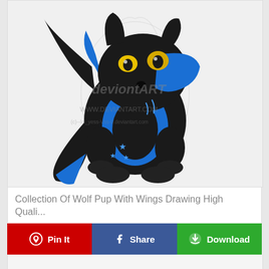[Figure (illustration): A cartoon/anime-style black and blue wolf pup with wings or blue fur accents, yellow eyes, sitting pose. DeviantArt watermark visible: 'deviontART' and 'WWW.DEVIANTART.COM (c)--lol_yess-Vss-0.deviantart.com'. Blue star markings on the body. White background with a faint character sketch behind.]
Collection Of Wolf Pup With Wings Drawing High Quali...
Pin It
Share
Download